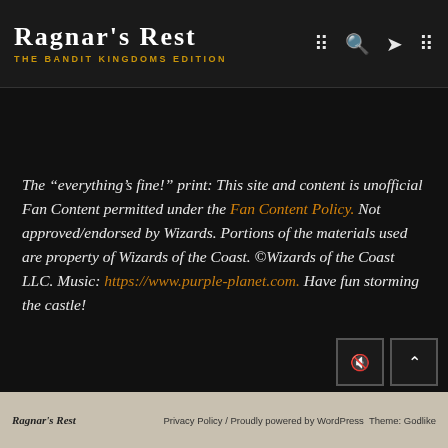Ragnar's Rest – The Bandit Kingdoms Edition
The “everything’s fine!” print: This site and content is unofficial Fan Content permitted under the Fan Content Policy. Not approved/endorsed by Wizards. Portions of the materials used are property of Wizards of the Coast. ©Wizards of the Coast LLC. Music: https://www.purple-planet.com. Have fun storming the castle!
Ragnar’s Rest | Privacy Policy / Proudly powered by WordPress Theme: Godlike